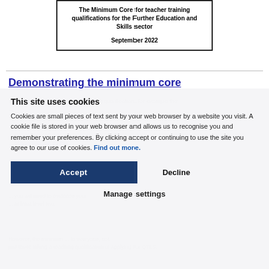[Figure (other): Document title box with border showing 'The Minimum Core for teacher training qualifications for the Further Education and Skills sector' and date 'September 2022']
Demonstrating the minimum core
If you are working towards a teaching qualification, for example the...
Cookies are small pieces of text sent by your web browser by a website you visit. A cookie file is stored in your web browser and allows us to recognise you and remember your preferences. By clicking accept or continuing to use the site you agree to our use of cookies. Find out more.
However, the minimum ... to everyone, not just those taking a teaching qualification or applying for QTLS.